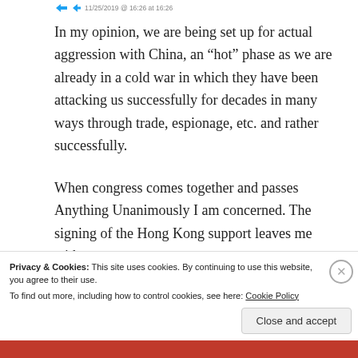In my opinion, we are being set up for actual aggression with China, an “hot” phase as we are already in a cold war in which they have been attacking us successfully for decades in many ways through trade, espionage, etc. and rather successfully.
When congress comes together and passes Anything Unanimously I am concerned. The signing of the Hong Kong support leaves me with
Privacy & Cookies: This site uses cookies. By continuing to use this website, you agree to their use.
To find out more, including how to control cookies, see here: Cookie Policy